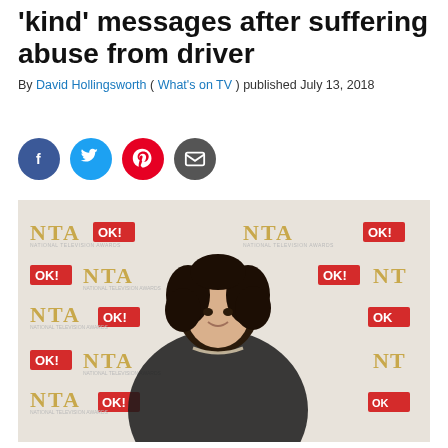'kind' messages after suffering abuse from driver
By David Hollingsworth ( What's on TV ) published July 13, 2018
[Figure (photo): Young woman with dark curly hair in a black dress, seated in a wheelchair, smiling at camera in front of an NTA and OK! magazine branded photo backdrop.]